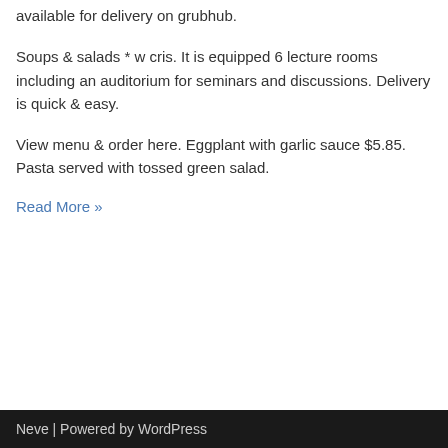available for delivery on grubhub.
Soups & salads * w cris. It is equipped 6 lecture rooms including an auditorium for seminars and discussions. Delivery is quick & easy.
View menu & order here. Eggplant with garlic sauce $5.85. Pasta served with tossed green salad.
Read More »
Neve | Powered by WordPress